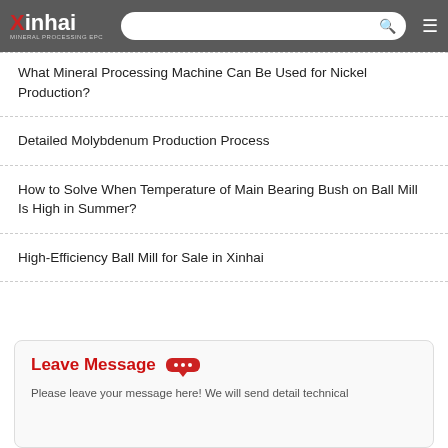Xinhai MINERAL PROCESSING EPC
What Mineral Processing Machine Can Be Used for Nickel Production?
Detailed Molybdenum Production Process
How to Solve When Temperature of Main Bearing Bush on Ball Mill Is High in Summer?
High-Efficiency Ball Mill for Sale in Xinhai
Leave Message
Please leave your message here! We will send detail technical